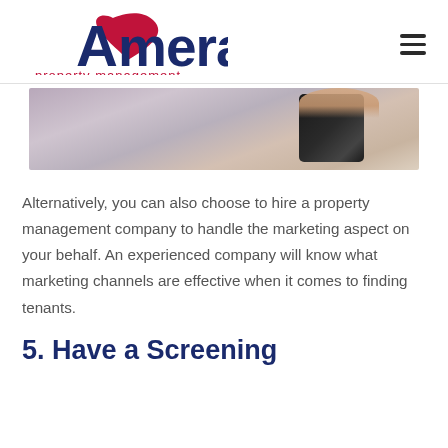Amera property management
[Figure (photo): Partial view of a person holding a camera, cropped photo banner]
Alternatively, you can also choose to hire a property management company to handle the marketing aspect on your behalf. An experienced company will know what marketing channels are effective when it comes to finding tenants.
5. Have a Screening